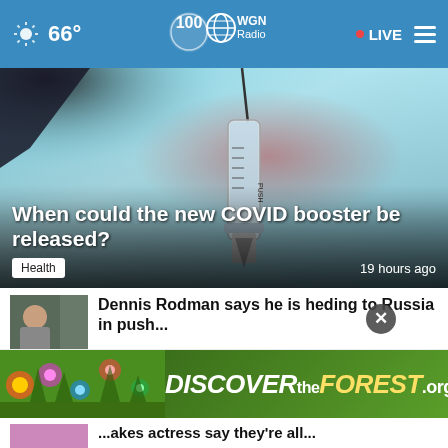66° WGN Radio 100 • LIVE
[Figure (photo): Close-up photo of a medical syringe/needle against a light blue background with a reddish blur, representing COVID vaccine booster.]
When could the new COVID booster be released?
Health   19 hours ago
Dennis Rodman says he is heading to Russia in push...
[Figure (photo): Thumbnail of Dennis Rodman news article]
[Figure (photo): Advertisement banner: DISCOVER the FOREST.org with Ad Council and US Forest Service logos]
Bottom news item partially visible